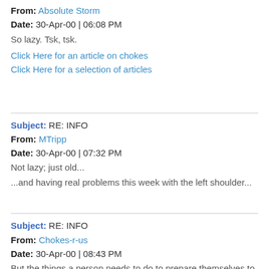From: Absolute Storm
Date: 30-Apr-00 | 06:08 PM
So lazy. Tsk, tsk.
Click Here for an article on chokes
Click Here for a selection of articles
Subject: RE: INFO
From: MTripp
Date: 30-Apr-00 | 07:32 PM
Not lazy; just old...
...and having real problems this week with the left shoulder...
Subject: RE: INFO
From: Chokes-r-us
Date: 30-Apr-00 | 08:43 PM
But the things a person needs to do to prepare themselves to survive a violent assault, are things that drive the paying student out the door."